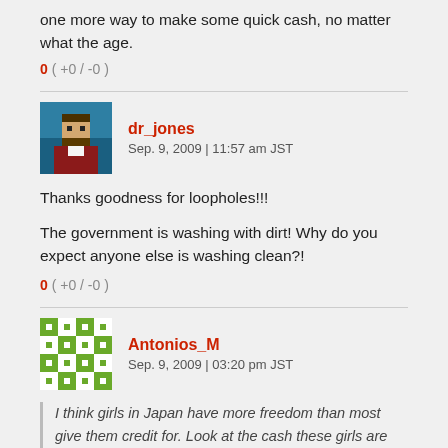one more way to make some quick cash, no matter what the age.
0 ( +0 / -0 )
dr_jones
Sep. 9, 2009 | 11:57 am JST
Thanks goodness for loopholes!!!
The government is washing with dirt! Why do you expect anyone else is washing clean?!
0 ( +0 / -0 )
Antonios_M
Sep. 9, 2009 | 03:20 pm JST
I think girls in Japan have more freedom than most give them credit for. Look at the cash these girls are making and they're willing to do extra to make some more ¥. Society's focus on money has become a curse. Money is worth more than pride these days, so "services" are